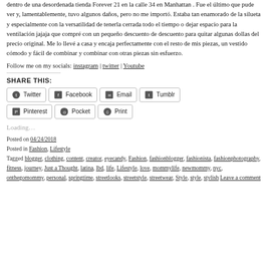dentro de una desordenada tienda Forever 21 en la calle 34 en Manhattan . Fue el último que pude ver y, lamentablemente, tuvo algunos daños, pero no me importó. Estaba tan enamorado de la silueta y especialmente con la versatilidad de tenerla cerrada todo el tiempo o dejar espacio para la ventilación jajaja que compré con un pequeño descuento de descuento para quitar algunas dollas del precio original. Me lo llevé a casa y encaja perfectamente con el resto de mis piezas, un vestido cómodo y fácil de combinar y combinar con otras piezas sin esfuerzo.
Follow me on my socials: instagram | twitter | Youtube
SHARE THIS:
Twitter | Facebook | Email | Tumblr | Pinterest | Pocket | Print
Loading…
Posted on 04/24/2018
Posted in Fashion, Lifestyle
Tagged blogger, clothing, content, creator, eyecandy, Fashion, fashionblogger, fashionista, fashionphotography, fitness, journey, Just a Thought, latina, lbd, life, Lifestyle, love, mommylife, newmommy, nyc, onthegomommy, personal, springtime, streetlooks, streetstyle, streetwear, Style, style, stylish Leave a comment